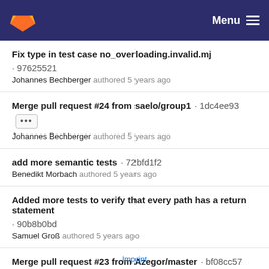GitLab — Menu
Fix type in test case no_overloading.invalid.mj · 97625521
Johannes Bechberger authored 5 years ago
Merge pull request #24 from saelo/group1 · 1dc4ee93
Johannes Bechberger authored 5 years ago
add more semantic tests · 72bfd1f2
Benedikt Morbach authored 5 years ago
Added more tests to verify that every path has a return statement · 90b8b0bd
Samuel Groß authored 5 years ago
Merge pull request #23 from Azegor/master · bf08cc57
Sebastian Graf authored 5 years ago
18 Nov, 2016 6 commits
Imprint